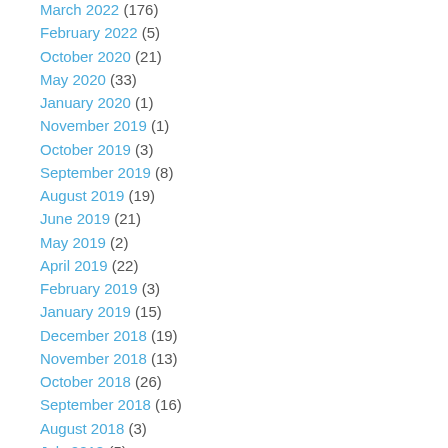March 2022 (176)
February 2022 (5)
October 2020 (21)
May 2020 (33)
January 2020 (1)
November 2019 (1)
October 2019 (3)
September 2019 (8)
August 2019 (19)
June 2019 (21)
May 2019 (2)
April 2019 (22)
February 2019 (3)
January 2019 (15)
December 2018 (19)
November 2018 (13)
October 2018 (26)
September 2018 (16)
August 2018 (3)
July 2018 (5)